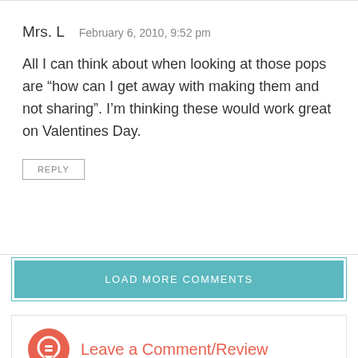Mrs. L   February 6, 2010, 9:52 pm
All I can think about when looking at those pops are “how can I get away with making them and not sharing”. I’m thinking these would work great on Valentines Day.
REPLY
LOAD MORE COMMENTS
Leave a Comment/Review
All comments are moderated before